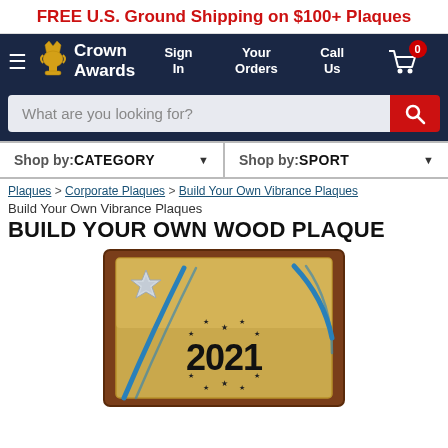FREE U.S. Ground Shipping on $100+ Plaques
[Figure (logo): Crown Awards logo with trophy icon and navigation links: Sign In, Your Orders, Call Us, cart with 0 badge]
What are you looking for?
Shop by: CATEGORY  |  Shop by: SPORT
Plaques > Corporate Plaques > Build Your Own Vibrance Plaques
Build Your Own Vibrance Plaques
BUILD YOUR OWN WOOD PLAQUE
[Figure (photo): Wood plaque with gold metallic plate, blue curved accent lines, silver star emblem in upper left, and '2021' text surrounded by a ring of stars in the center]